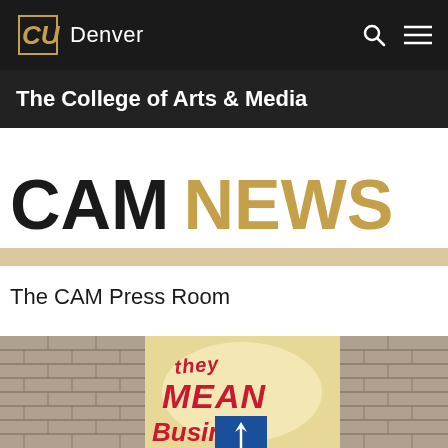CU Denver — The College of Arts & Media
CAM NEWS
The CAM Press Room
[Figure (illustration): Marquee sign reading 'THEY MEAN Business' with brick walls on either side and a blue sign post below]